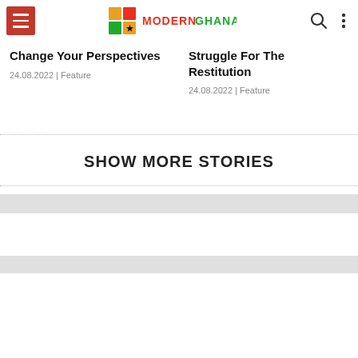Modern Ghana — navigation header with hamburger menu, logo, search and more icons
Change Your Perspectives
24.08.2022 | Feature
Struggle For The Restitution
24.08.2022 | Feature
SHOW MORE STORIES
[Figure (other): Gray horizontal band / separator bar 1]
[Figure (other): Gray horizontal band / separator bar 2]